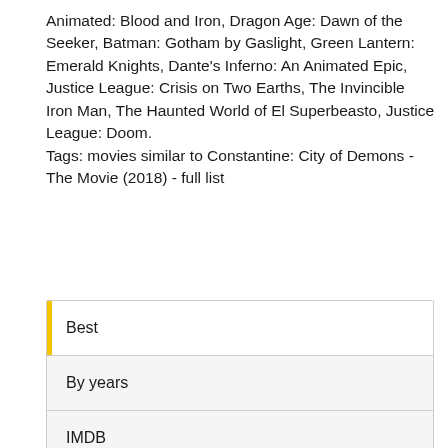Animated: Blood and Iron, Dragon Age: Dawn of the Seeker, Batman: Gotham by Gaslight, Green Lantern: Emerald Knights, Dante's Inferno: An Animated Epic, Justice League: Crisis on Two Earths, The Invincible Iron Man, The Haunted World of El Superbeasto, Justice League: Doom.
Tags: movies similar to Constantine: City of Demons - The Movie (2018) - full list
Best
By years
IMDB